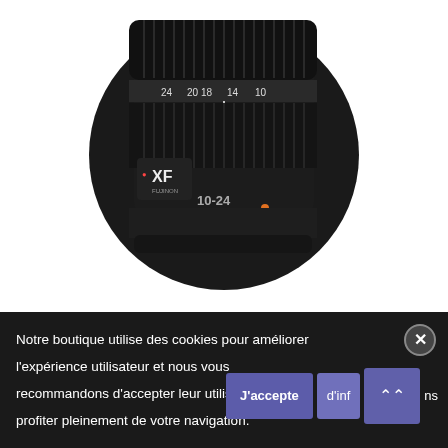[Figure (photo): Fujifilm XF 10-24mm F4 OIS camera lens photographed from above at an angle, showing the focus ring with markings 24, 20, 18, 14, 10, and the lens label XF 10-24]
Fuji XF 10-24/4 F OIS
999,00 €
Notre boutique utilise des cookies pour améliorer l'expérience utilisateur et nous vous recommandons d'accepter leur utilisation pour profiter pleinement de votre navigation.